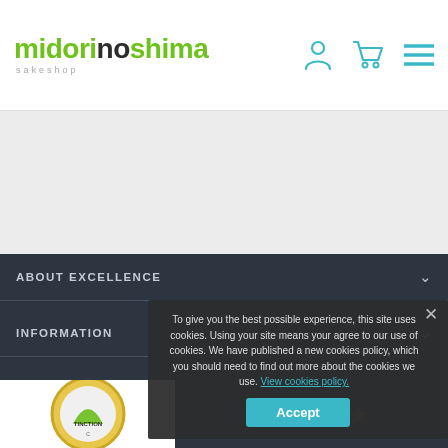[Figure (logo): midorinoshima sakeshop logo in green and dark text]
midorinoshima sakeshop — navigation header with user, cart, and menu icons
ABOUT EXCELLENCE
INFORMATION
MY ACCOUNT
EMAIL NEWSLETTERS
To give you the best possible experience, this site uses cookies. Using your site means your agree to our use of cookies. We have published a new cookies policy, which you should need to find out more about the cookies we use. View cookies policy.
Accept